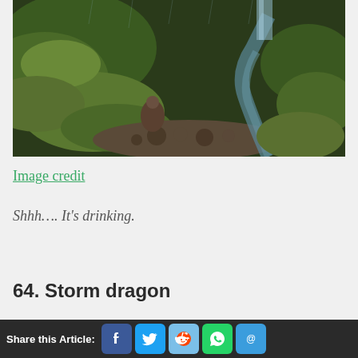[Figure (photo): A person sitting by a mossy rocky stream/creek with a small waterfall in a lush green mossy landscape, rainy atmosphere]
Image credit
Shhh…. It's drinking.
64. Storm dragon
Share this Article: [Facebook] [Twitter] [Reddit] [WhatsApp] [Email]